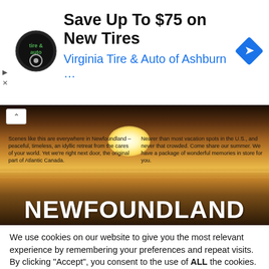[Figure (other): Advertisement banner for Virginia Tire & Auto of Ashburn with logo, headline 'Save Up To $75 on New Tires', subline 'Virginia Tire & Auto of Ashburn ...', and navigation diamond icon]
[Figure (photo): Vintage Newfoundland tourism advertisement showing a dramatic sunset over water with large white 'NEWFOUNDLAND' wordmark and two columns of promotional text]
We use cookies on our website to give you the most relevant experience by remembering your preferences and repeat visits. By clicking “Accept”, you consent to the use of ALL the cookies.
Do not sell my personal information.